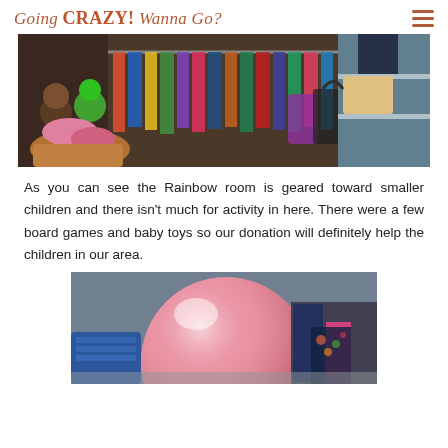Going CRAZY! Wanna Go?
[Figure (photo): Inside a donation/thrift room showing hanging children's clothes on a rack, stuffed animal toys in a basket (including a green frog and monkey), and shelves with baskets and folded clothing in the background.]
As you can see the Rainbow room is geared toward smaller children and there isn't much for activity in here. There were a few board games and baby toys so our donation will definitely help the children in our area.
[Figure (photo): Close-up of a large pink ball/balloon in the foreground, with blue storage baskets and fabric items visible in the background.]